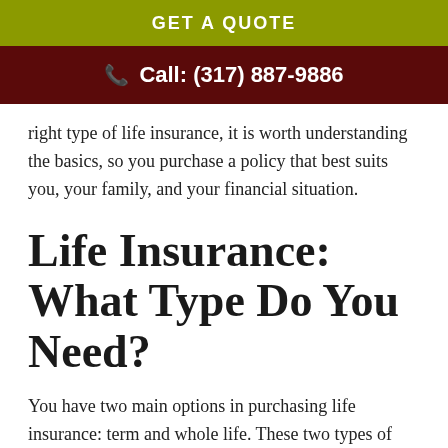GET A QUOTE
Call: (317) 887-9886
right type of life insurance, it is worth understanding the basics, so you purchase a policy that best suits you, your family, and your financial situation.
Life Insurance: What Type Do You Need?
You have two main options in purchasing life insurance: term and whole life. These two types of policies are quite different. Let's cover the basics: